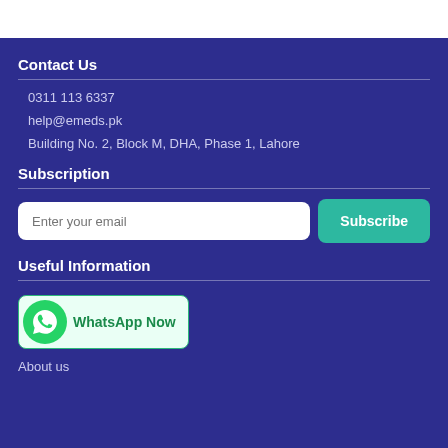Contact Us
0311 113 6337
help@emeds.pk
Building No. 2, Block M, DHA, Phase 1, Lahore
Subscription
[Figure (other): Email subscription form with input field and Subscribe button]
Useful Information
[Figure (other): WhatsApp Now button with WhatsApp icon]
About us